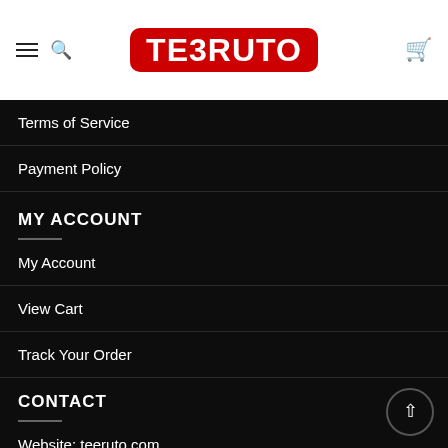[Figure (logo): TEERUTO logo in white bold text on red rounded rectangle background, with hamburger menu and search icon on left, cart icon on right]
Terms of Service
Payment Policy
MY ACCOUNT
My Account
View Cart
Track Your Order
CONTACT
Website: teeruto.com